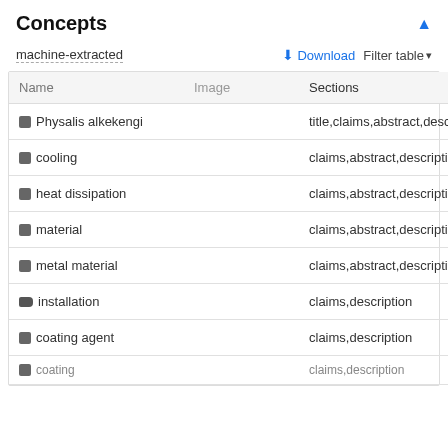Concepts
machine-extracted
| Name | Image | Sections |
| --- | --- | --- |
| Physalis alkekengi |  | title,claims,abstract,description |
| cooling |  | claims,abstract,description |
| heat dissipation |  | claims,abstract,description |
| material |  | claims,abstract,description |
| metal material |  | claims,abstract,description |
| installation |  | claims,description |
| coating agent |  | claims,description |
| coating |  | claims,description |